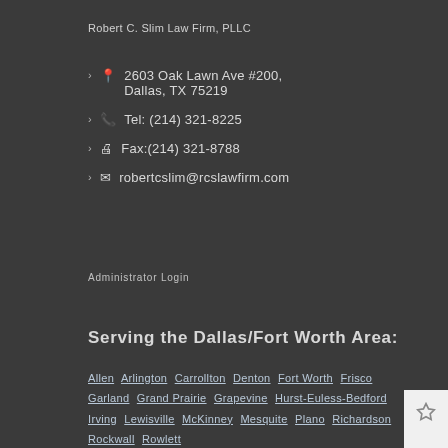Robert C. Slim Law Firm, PLLC
2603 Oak Lawn Ave #200, Dallas, TX 75219
Tel: (214) 321-8225
Fax:(214) 321-8788
robertcslim@rcslawfirm.com
Administrator Login
Serving the Dallas/Fort Worth Area:
Allen  Arlington  Carrollton  Denton  Fort Worth  Frisco  Garland  Grand Prairie  Grapevine  Hurst-Euless-Bedford  Irving  Lewisville  McKinney  Mesquite  Plano  Richardson  Rockwall  Rowlett